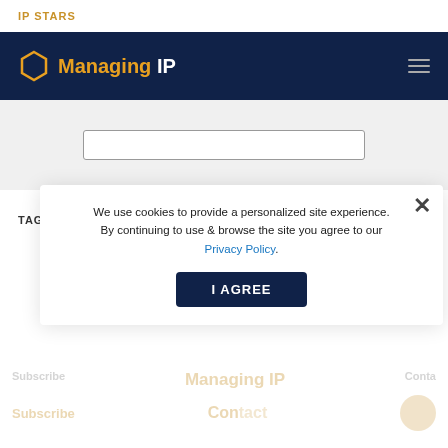IP STARS
[Figure (logo): Managing IP logo with hexagon icon on dark navy navigation bar]
[Figure (screenshot): Search input box on light grey background]
TAGS   MIP SPECIAL FOCUS
EUROPE IP FOCUS 2009 5TH EDITION (JUNE 2009)
We use cookies to provide a personalized site experience. By continuing to use & browse the site you agree to our Privacy Policy.
I AGREE